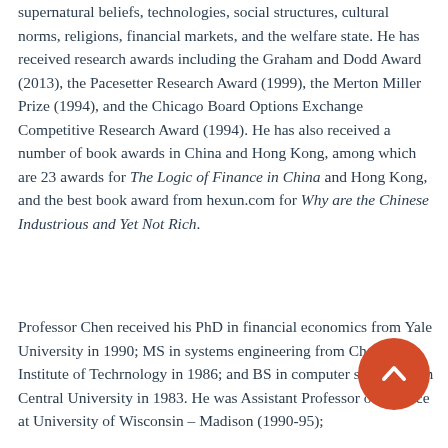supernatural beliefs, technologies, social structures, cultural norms, religions, financial markets, and the welfare state. He has received research awards including the Graham and Dodd Award (2013), the Pacesetter Research Award (1999), the Merton Miller Prize (1994), and the Chicago Board Options Exchange Competitive Research Award (1994). He has also received a number of book awards in China and Hong Kong, among which are 23 awards for The Logic of Finance in China and Hong Kong, and the best book award from hexun.com for Why are the Chinese Industrious and Yet Not Rich.
Professor Chen received his PhD in financial economics from Yale University in 1990; MS in systems engineering from Changsha Institute of Technology in 1986; and BS in computer science from Central University in 1983. He was Assistant Professor of Finance at University of Wisconsin – Madison (1990-95);